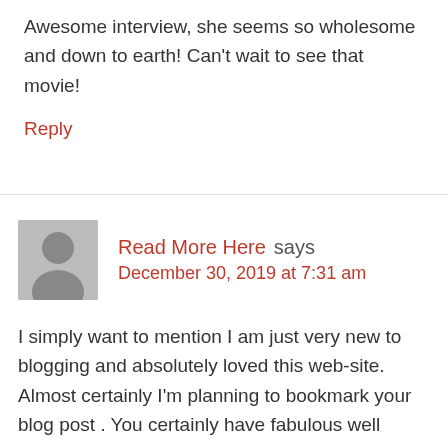Awesome interview, she seems so wholesome and down to earth! Can't wait to see that movie!
Reply
Read More Here says
December 30, 2019 at 7:31 am
I simply want to mention I am just very new to blogging and absolutely loved this web-site. Almost certainly I'm planning to bookmark your blog post . You certainly have fabulous well written articles. Cheers for sharing with us your website.